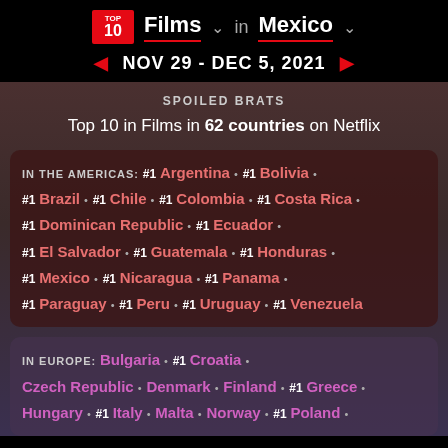TOP 10 Films v in Mexico v
NOV 29 - DEC 5, 2021
SPOILED BRATS
Top 10 in Films in 62 countries on Netflix
IN THE AMERICAS: #1 Argentina · #1 Bolivia · #1 Brazil · #1 Chile · #1 Colombia · #1 Costa Rica · #1 Dominican Republic · #1 Ecuador · #1 El Salvador · #1 Guatemala · #1 Honduras · #1 Mexico · #1 Nicaragua · #1 Panama · #1 Paraguay · #1 Peru · #1 Uruguay · #1 Venezuela
IN EUROPE: Bulgaria · #1 Croatia · Czech Republic · Denmark · Finland · #1 Greece · Hungary · #1 Italy · Malta · Norway · #1 Poland ·